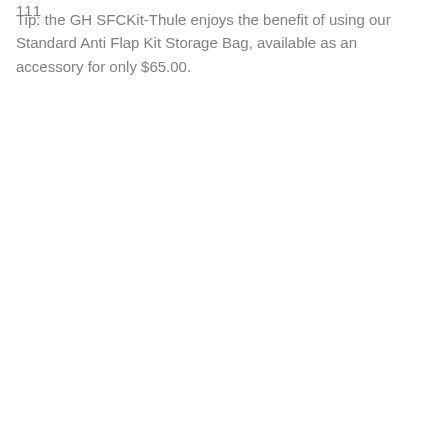111
Tip: the GH SFCKit-Thule enjoys the benefit of using our Standard Anti Flap Kit Storage Bag, available as an accessory for only $65.00.